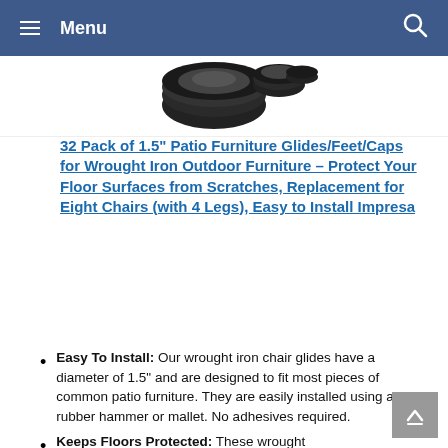≡ Menu 🔍
[Figure (photo): Black plastic furniture glides/caps, circular shaped, shown in a group]
32 Pack of 1.5" Patio Furniture Glides/Feet/Caps for Wrought Iron Outdoor Furniture – Protect Your Floor Surfaces from Scratches, Replacement for Eight Chairs (with 4 Legs), Easy to Install Impresa
Easy To Install: Our wrought iron chair glides have a diameter of 1.5" and are designed to fit most pieces of common patio furniture. They are easily installed using a rubber hammer or mallet. No adhesives required.
Keeps Floors Protected: These wrought